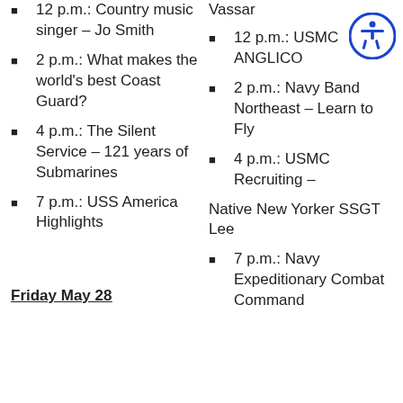12 p.m.: Country music singer – Jo Smith
2 p.m.: What makes the world's best Coast Guard?
4 p.m.: The Silent Service – 121 years of Submarines
7 p.m.: USS America Highlights
Friday May 28
Vassar
12 p.m.: USMC ANGLICO
2 p.m.: Navy Band Northeast – Learn to Fly
4 p.m.: USMC Recruiting – Native New Yorker SSGT Lee
7 p.m.: Navy Expeditionary Combat Command